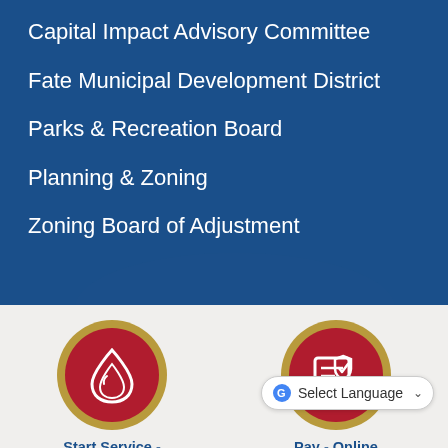Capital Impact Advisory Committee
Fate Municipal Development District
Parks & Recreation Board
Planning & Zoning
Zoning Board of Adjustment
[Figure (infographic): Red circle icon with water drop symbol, gold border ring — Start Service - Water/Utility button]
Start Service - Water / Utility
[Figure (infographic): Red circle icon with document/shield check symbol, gold border ring — Pay - Online button]
Pay - Online
Select Language